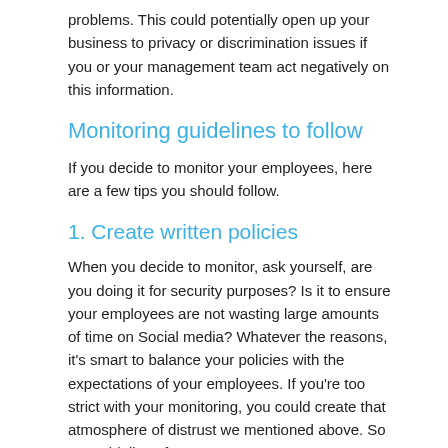problems. This could potentially open up your business to privacy or discrimination issues if you or your management team act negatively on this information.
Monitoring guidelines to follow
If you decide to monitor your employees, here are a few tips you should follow.
1. Create written policies
When you decide to monitor, ask yourself, are you doing it for security purposes? Is it to ensure your employees are not wasting large amounts of time on Social media? Whatever the reasons, it's smart to balance your policies with the expectations of your employees. If you're too strict with your monitoring, you could create that atmosphere of distrust we mentioned above. So set guidelines for